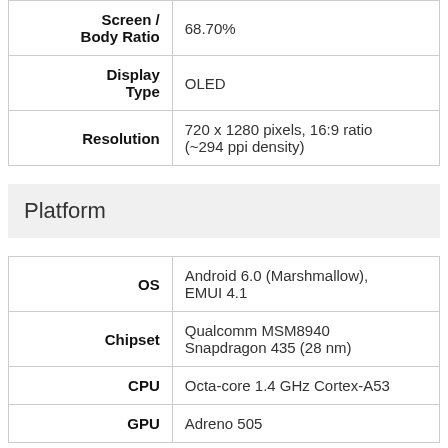| Spec | Value |
| --- | --- |
| Screen / Body Ratio | 68.70% |
| Display Type | OLED |
| Resolution | 720 x 1280 pixels, 16:9 ratio (~294 ppi density) |
Platform
| Spec | Value |
| --- | --- |
| OS | Android 6.0 (Marshmallow), EMUI 4.1 |
| Chipset | Qualcomm MSM8940 Snapdragon 435 (28 nm) |
| CPU | Octa-core 1.4 GHz Cortex-A53 |
| GPU | Adreno 505 |